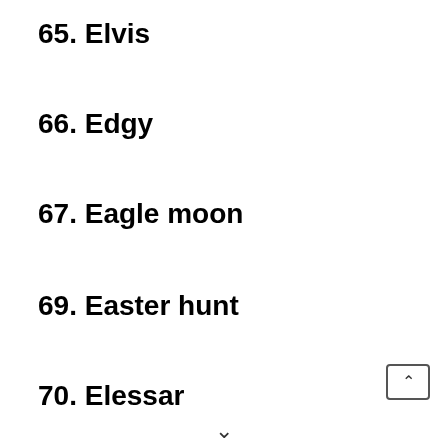65. Elvis
66. Edgy
67. Eagle moon
69. Easter hunt
70. Elessar